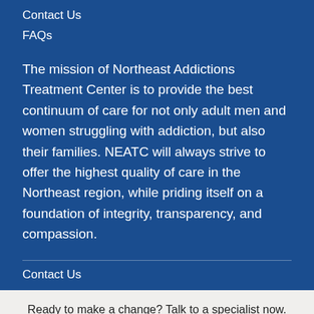Contact Us
FAQs
The mission of Northeast Addictions Treatment Center is to provide the best continuum of care for not only adult men and women struggling with addiction, but also their families. NEATC will always strive to offer the highest quality of care in the Northeast region, while priding itself on a foundation of integrity, transparency, and compassion.
Contact Us
Ready to make a change? Talk to a specialist now.
Call (888) 582-2332